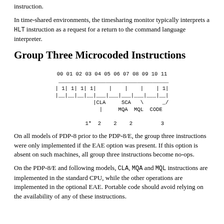instruction.
In time-shared environments, the timesharing monitor typically interprets a HLT instruction as a request for a return to the command language interpreter.
Group Three Microcoded Instructions
[Figure (schematic): Bit field diagram for Group Three Microcoded Instructions showing bits 00-11 with fields CLA, SCA, MQA, MQL, CODE and bit widths 1*, 2, 2, 2, 3]
On all models of PDP-8 prior to the PDP-8/E, the group three instructions were only implemented if the EAE option was present. If this option is absent on such machines, all group three instructions become no-ops.
On the PDP-8/E and following models, CLA, MQA and MQL instructions are implemented in the standard CPU, while the other operations are implemented in the optional EAE. Portable code should avoid relying on the availability of any of these instructions.